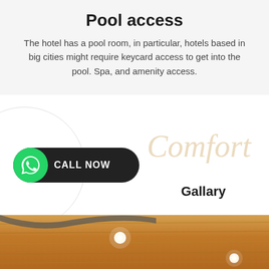Pool access
The hotel has a pool room, in particular, hotels based in big cities might require keycard access to get into the pool. Spa, and amenity access.
[Figure (other): CALL NOW button with green WhatsApp icon on dark pill-shaped background, large circle watermark, cursive 'Comfort' script watermark in beige, bold 'Gallary' text]
[Figure (photo): Bottom partial photo showing wooden ceiling/interior with recessed lighting]